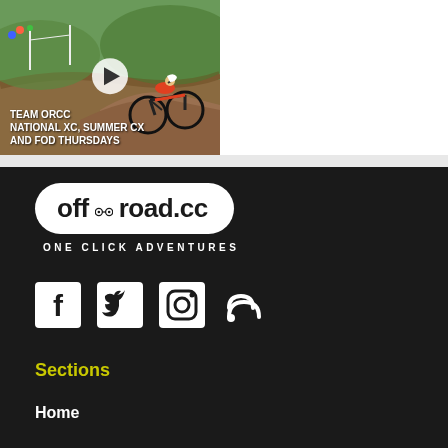[Figure (screenshot): Video thumbnail showing mountain bike rider on dirt track with text overlay: TEAM ORCC NATIONAL XC, SUMMER CX AND FOD THURSDAYS, with play button]
Team ORCC _ EP. 06 – National XC, summer CX and FOD Thursdays
[Figure (logo): off-road.cc logo with chain link icon, tagline ONE CLICK ADVENTURES on dark background]
[Figure (illustration): Social media icons: Facebook, Twitter, Instagram, RSS feed]
Sections
Home